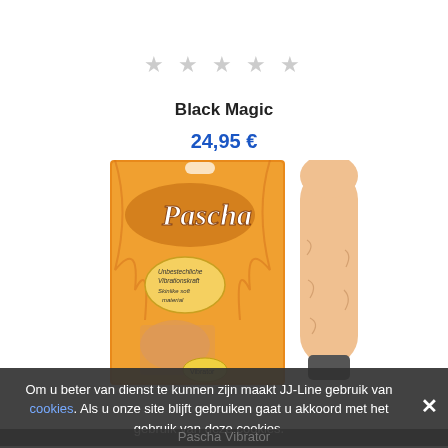[Figure (photo): Star rating (5 empty/grey stars) for product]
Black Magic
24,95 €
[Figure (photo): Product photo: Pascha vibrator shown next to its retail box (orange box with Pascha branding, featuring a woman on the packaging)]
Om u beter van dienst te kunnen zijn maakt JJ-Line gebruik van cookies. Als u onze site blijft gebruiken gaat u akkoord met het gebruik van deze cookies.
Pascha Vibrator